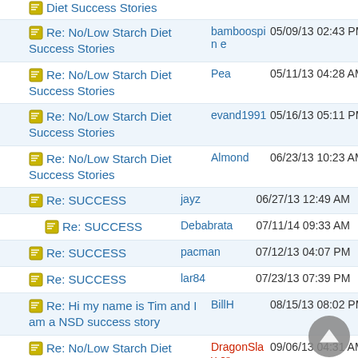Re: No/Low Starch Diet Success Stories | bamboospine | 05/09/13 02:43 PM
Re: No/Low Starch Diet Success Stories | Pea | 05/11/13 04:28 AM
Re: No/Low Starch Diet Success Stories | evand1991 | 05/16/13 05:11 PM
Re: No/Low Starch Diet Success Stories | Almond | 06/23/13 10:23 AM
Re: SUCCESS | jayz | 06/27/13 12:49 AM
Re: SUCCESS | Debabrata | 07/11/14 09:33 AM
Re: SUCCESS | pacman | 07/12/13 04:07 PM
Re: SUCCESS | lar84 | 07/23/13 07:39 PM
Re: Hi my name is Tim and I am a NSD success story | BillH | 08/15/13 08:02 PM
Re: No/Low Starch Diet Success Stories | DragonSlayer | 09/06/13 04:31 AM